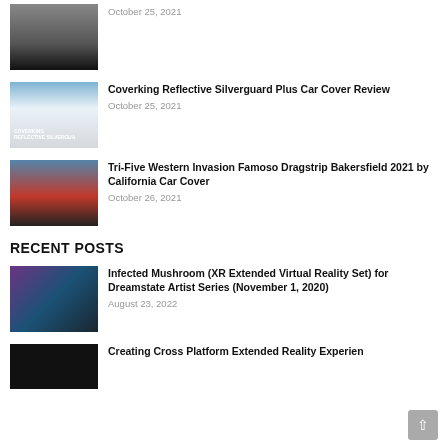[Figure (photo): Thumbnail of a person with a car cover]
October 25, 2021
[Figure (photo): Thumbnail showing Coverking Reflective Silverguard car cover on a car]
Coverking Reflective Silverguard Plus Car Cover Review
October 25, 2021
[Figure (photo): Thumbnail showing a red classic car at drag strip event]
Tri-Five Western Invasion Famoso Dragstrip Bakersfield 2021 by California Car Cover
October 26, 2021
RECENT POSTS
[Figure (photo): Thumbnail of Infected Mushroom XR Extended Virtual Reality Set performer with purple lighting]
Infected Mushroom (XR Extended Virtual Reality Set) for Dreamstate Artist Series (November 1, 2020)
August 23, 2022
[Figure (photo): Thumbnail dark, partially visible]
Creating Cross Platform Extended Reality Experiences